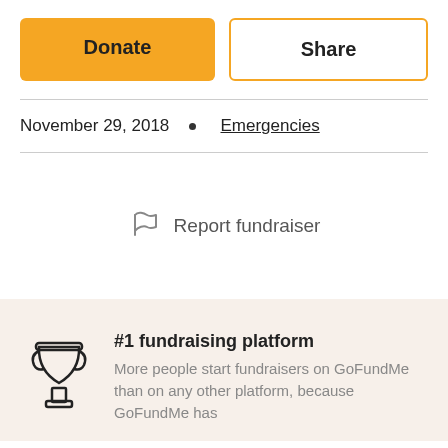Donate
Share
November 29, 2018  •  Emergencies
[Figure (illustration): Flag/report icon]
Report fundraiser
#1 fundraising platform
[Figure (illustration): Trophy icon]
More people start fundraisers on GoFundMe than on any other platform, because GoFundMe has